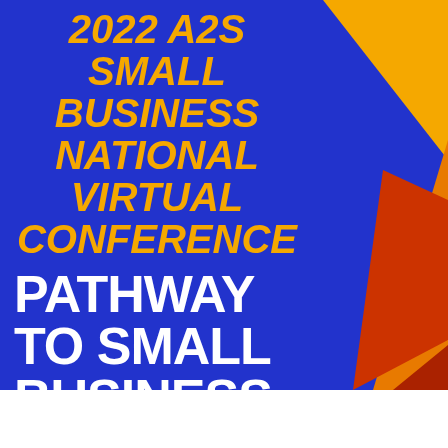[Figure (illustration): Conference banner cover page with blue background, geometric polygon shapes in orange, dark red/red on the right side, yellow italic bold text reading '2022 A2S SMALL BUSINESS NATIONAL VIRTUAL CONFERENCE' and white bold text reading 'PATHWAY TO SMALL BUSINESS']
2022 A2S SMALL BUSINESS NATIONAL VIRTUAL CONFERENCE PATHWAY TO SMALL BUSINESS